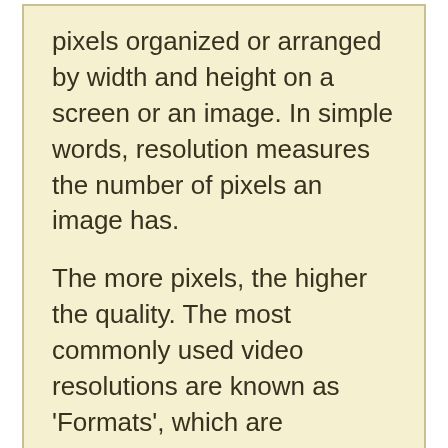pixels organized or arranged by width and height on a screen or an image. In simple words, resolution measures the number of pixels an image has.

The more pixels, the higher the quality. The most commonly used video resolutions are known as 'Formats', which are technically termed as Ultra HD or Full HD.
Pixel: It is the smallest unit of a graphic or an image, which can be represented or displayed on any digital device. Every little pixel is like a puzzle piece-and when they